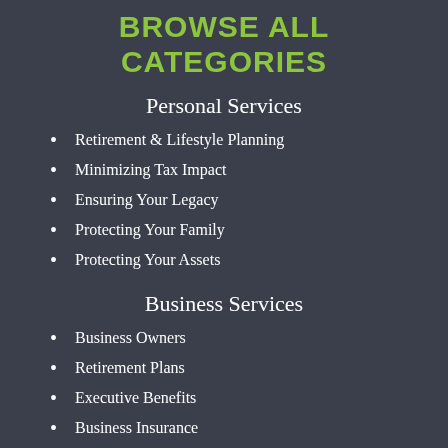BROWSE ALL CATEGORIES
Personal Services
Retirement & Lifestyle Planning
Minimizing Tax Impact
Ensuring Your Legacy
Protecting Your Family
Protecting Your Assets
Business Services
Business Owners
Retirement Plans
Executive Benefits
Business Insurance